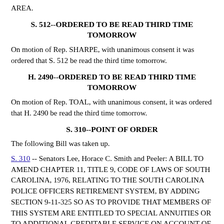AREA.
S. 512--ORDERED TO BE READ THIRD TIME TOMORROW
On motion of Rep. SHARPE, with unanimous consent it was ordered that S. 512 be read the third time tomorrow.
H. 2490--ORDERED TO BE READ THIRD TIME TOMORROW
On motion of Rep. TOAL, with unanimous consent, it was ordered that H. 2490 be read the third time tomorrow.
S. 310--POINT OF ORDER
The following Bill was taken up.
S. 310 -- Senators Lee, Horace C. Smith and Peeler: A BILL TO AMEND CHAPTER 11, TITLE 9, CODE OF LAWS OF SOUTH CAROLINA, 1976, RELATING TO THE SOUTH CAROLINA POLICE OFFICERS RETIREMENT SYSTEM, BY ADDING SECTION 9-11-325 SO AS TO PROVIDE THAT MEMBERS OF THIS SYSTEM ARE ENTITLED TO SPECIAL ANNUITIES OR TO ADDITIONAL CREDITABLE SERVICE ON ACCOUNT OF THEIR OUT-OF-STATE SERVICE IN THE SAME MANNER